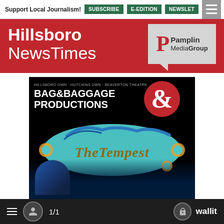Support Local Journalism! | SUBSCRIBE | E-EDITION | NEWSLET
Hillsboro NewsTimes
[Figure (logo): Pamplin Media Group logo in grey speech-bubble box]
[Figure (photo): Bag & Baggage Productions promotional image for The Tempest — dark background with decorative teal/gold 'The Tempest' title lettering and person's face lit in blue below]
≡  [user icon]  1/1  [lock icon] wallit